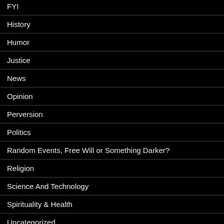FYI
History
Humor
Justice
News
Opinion
Perversion
Politics
Random Events, Free Will or Something Darker?
Religion
Science And Technology
Spirituality & Health
Uncategorized